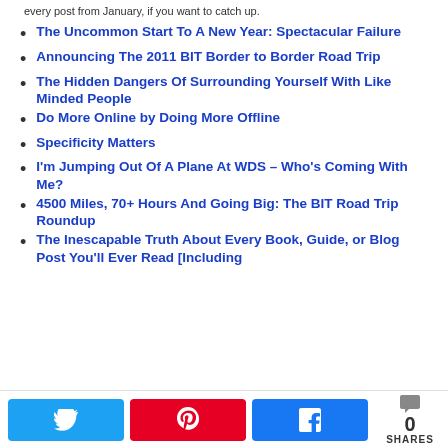every post from January, if you want to catch up.
The Uncommon Start To A New Year: Spectacular Failure
Announcing The 2011 BIT Border to Border Road Trip
The Hidden Dangers Of Surrounding Yourself With Like Minded People
Do More Online by Doing More Offline
Specificity Matters
I'm Jumping Out Of A Plane At WDS – Who's Coming With Me?
4500 Miles, 70+ Hours And Going Big: The BIT Road Trip Roundup
The Inescapable Truth About Every Book, Guide, or Blog Post You'll Ever Read [Including